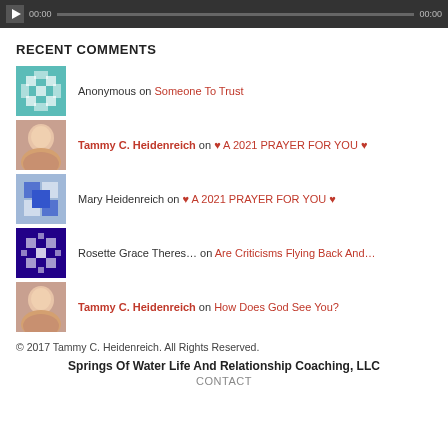[Figure (screenshot): Audio player bar with play button, time codes 00:00, progress bar, and 00:00]
RECENT COMMENTS
Anonymous on Someone To Trust
Tammy C. Heidenreich on ♥ A 2021 PRAYER FOR YOU ♥
Mary Heidenreich on ♥ A 2021 PRAYER FOR YOU ♥
Rosette Grace Theres… on Are Criticisms Flying Back And…
Tammy C. Heidenreich on How Does God See You?
© 2017 Tammy C. Heidenreich. All Rights Reserved.
Springs Of Water Life And Relationship Coaching, LLC
CONTACT